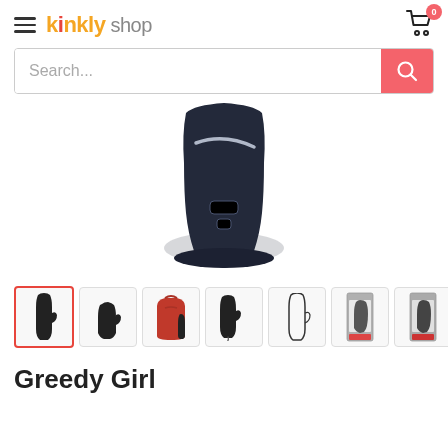kinkly shop
Search...
[Figure (photo): Close-up of a dark navy blue vibrator base with silver accent detail and control buttons, shown on white background]
[Figure (photo): Thumbnail row of 7 product images showing the Greedy Girl vibrator from various angles and in packaging]
Greedy Girl